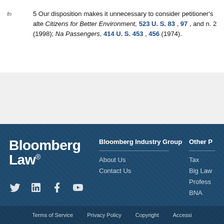fn  5 Our disposition makes it unnecessary to consider petitioner's alte Citizens for Better Environment, 523 U. S. 83 , 97 , and n. 2 (1998); Na Passengers, 414 U. S. 453 , 456 (1974).
[Figure (logo): Bloomberg Law logo in white on dark blue footer background]
Bloomberg Industry Group
About Us
Contact Us
Other P
Tax
Big Law
Profess
BNA
Terms of Service   Privacy Policy   Copyright   Accessi